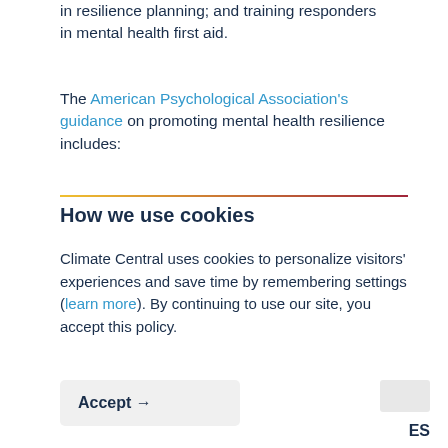in resilience planning; and training responders in mental health first aid.
The American Psychological Association's guidance on promoting mental health resilience includes:
How we use cookies
Climate Central uses cookies to personalize visitors' experiences and save time by remembering settings (learn more). By continuing to use our site, you accept this policy.
Accept →
ES